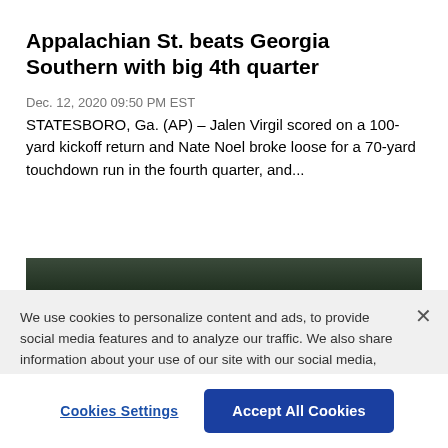Appalachian St. beats Georgia Southern with big 4th quarter
Dec. 12, 2020 09:50 PM EST
STATESBORO, Ga. (AP) – Jalen Virgil scored on a 100-yard kickoff return and Nate Noel broke loose for a 70-yard touchdown run in the fourth quarter, and...
[Figure (photo): Dark outdoor photo, likely a football game scene]
We use cookies to personalize content and ads, to provide social media features and to analyze our traffic. We also share information about your use of our site with our social media, advertising and analytics partners. Privacy Policy
Cookies Settings
Accept All Cookies